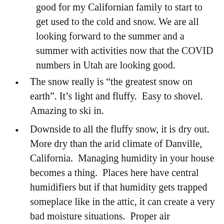good for my Californian family to start to get used to the cold and snow. We are all looking forward to the summer and a summer with activities now that the COVID numbers in Utah are looking good.
The snow really is “the greatest snow on earth”. It’s light and fluffy.  Easy to shovel.  Amazing to ski in.
Downside to all the fluffy snow, it is dry out.  More dry than the arid climate of Danville, California.  Managing humidity in your house becomes a thing.  Places here have central humidifiers but if that humidity gets trapped someplace like in the attic, it can create a very bad moisture situations.  Proper air circulation is super important in those cases.
The winter is warmer than I expected here and I